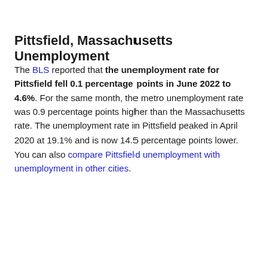Pittsfield, Massachusetts Unemployment
The BLS reported that the unemployment rate for Pittsfield fell 0.1 percentage points in June 2022 to 4.6%. For the same month, the metro unemployment rate was 0.9 percentage points higher than the Massachusetts rate. The unemployment rate in Pittsfield peaked in April 2020 at 19.1% and is now 14.5 percentage points lower. You can also compare Pittsfield unemployment with unemployment in other cities.